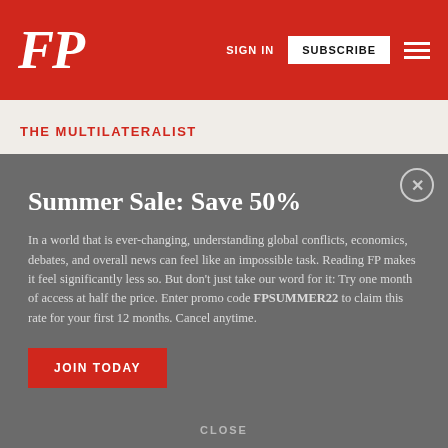FP | SIGN IN | SUBSCRIBE
THE MULTILATERALIST
Summer Sale: Save 50%
In a world that is ever-changing, understanding global conflicts, economics, debates, and overall news can feel like an impossible task. Reading FP makes it feel significantly less so. But don't just take our word for it: Try one month of access at half the price. Enter promo code FPSUMMER22 to claim this rate for your first 12 months. Cancel anytime.
JOIN TODAY
CLOSE